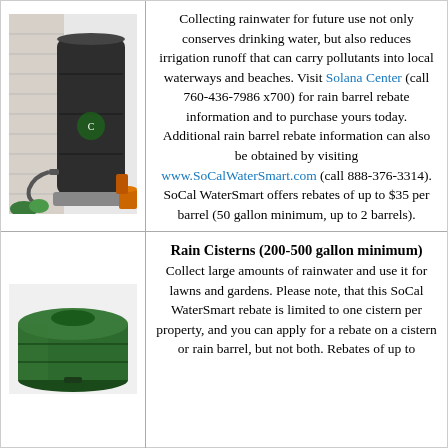[Figure (photo): A dark grey/black rain barrel with hose attachments, sitting on a platform next to a house wall with plants.]
Collecting rainwater for future use not only conserves drinking water, but also reduces irrigation runoff that can carry pollutants into local waterways and beaches. Visit Solana Center (call 760-436-7986 x700) for rain barrel rebate information and to purchase yours today. Additional rain barrel rebate information can also be obtained by visiting www.SoCalWaterSmart.com (call 888-376-3314). SoCal WaterSmart offers rebates of up to $35 per barrel (50 gallon minimum, up to 2 barrels).
[Figure (photo): A large round green rain cistern/tank with a flat top, viewed from a slight angle.]
Rain Cisterns (200-500 gallon minimum)
Collect large amounts of rainwater and use it for lawns and gardens. Please note, that this SoCal WaterSmart rebate is limited to one cistern per property, and you can apply for a rebate on a cistern or rain barrel, but not both. Rebates of up to